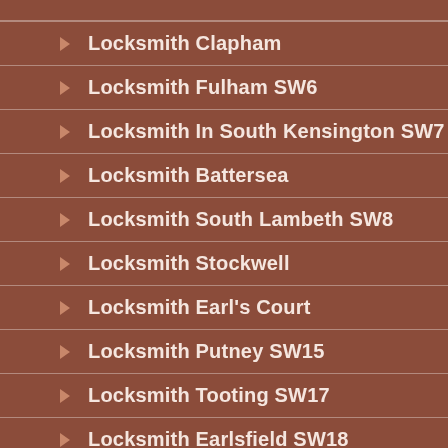Locksmith Clapham
Locksmith Fulham SW6
Locksmith In South Kensington SW7
Locksmith Battersea
Locksmith South Lambeth SW8
Locksmith Stockwell
Locksmith Earl's Court
Locksmith Putney SW15
Locksmith Tooting SW17
Locksmith Earlsfield SW18